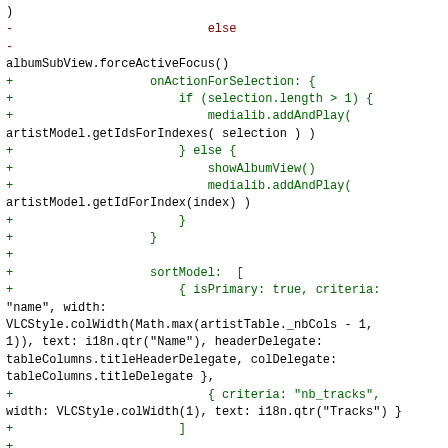)
-                           else
-
albumSubView.forceActiveFocus()
+                   onActionForSelection: {
+                       if (selection.length > 1) {
+                           medialib.addAndPlay(
artistModel.getIdsForIndexes( selection ) )
+                       } else {
+                           showAlbumView()
+                           medialib.addAndPlay(
artistModel.getIdForIndex(index) )
+                       }
+                   }
+
+                   sortModel:  [
+                       { isPrimary: true, criteria:
"name", width:
VLCStyle.colWidth(Math.max(artistTable._nbCols - 1,
1)), text: i18n.qtr("Name"), headerDelegate:
tableColumns.titleHeaderDelegate, colDelegate:
tableColumns.titleDelegate },
+                           { criteria: "nb_tracks",
width: VLCStyle.colWidth(1), text: i18n.qtr("Tracks") }
+                       ]
+
+                   onItemDoubleClicked: {
+
artistAllView.showAlbumView(model)
+               }